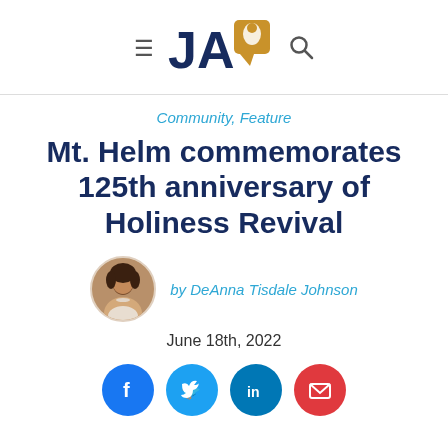JA [logo] Community news website header with hamburger menu and search icon
Community, Feature
Mt. Helm commemorates 125th anniversary of Holiness Revival
by DeAnna Tisdale Johnson
June 18th, 2022
[Figure (illustration): Social share buttons: Facebook (blue), Twitter (light blue), LinkedIn (blue), Email (red)]